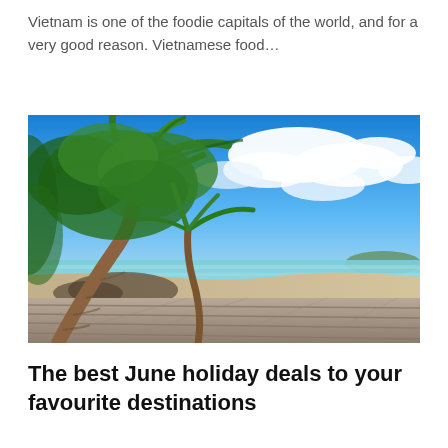Vietnam is one of the foodie capitals of the world, and for a very good reason. Vietnamese food...
[Figure (photo): Tropical beach scene with tall palm trees leaning over turquoise water, puffy white clouds in a bright blue sky, and weathered wooden deck planks in the foreground.]
The best June holiday deals to your favourite destinations